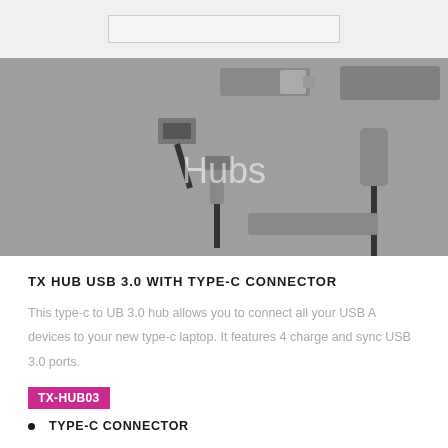[Figure (photo): Grey flatlay photo of various USB hubs and connectors on a grey background, with the word 'Hubs' written in light grey text in the center.]
TX HUB USB 3.0 WITH TYPE-C CONNECTOR
This type-c to UB 3.0 hub allows you to connect all your USB A devices to your new type-c laptop. It features 4 charge and sync USB 3.0 ports.
TX-HUB03
TYPE-C CONNECTOR